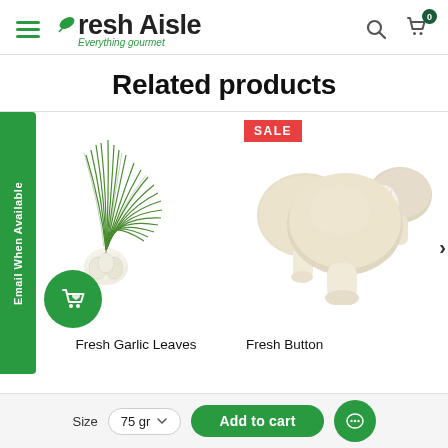Fresh Aisle — Everything gourmet
Related products
[Figure (photo): Fresh Garlic Leaves — garlic bulb with long green leaves]
Fresh Garlic Leaves
[Figure (photo): Fresh Button Mushrooms — cluster of white button mushrooms with SALE badge]
Fresh Button Mushrooms
Email When Available
Size  75 gr
Add to cart